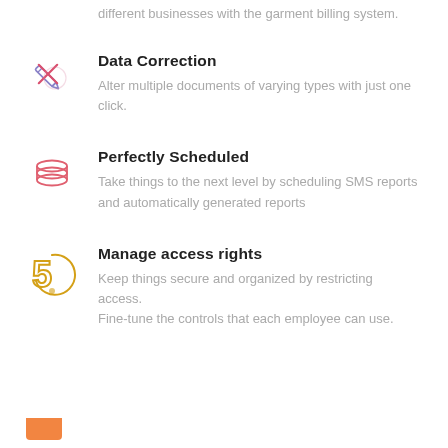different businesses with the garment billing system.
[Figure (illustration): Purple pencil and wrench/cross icon for Data Correction]
Data Correction
Alter multiple documents of varying types with just one click.
[Figure (illustration): Red/pink stacked layers icon for Perfectly Scheduled]
Perfectly Scheduled
Take things to the next level by scheduling SMS reports and automatically generated reports
[Figure (illustration): Yellow/orange number 5 swirl icon for Manage access rights]
Manage access rights
Keep things secure and organized by restricting access. Fine-tune the controls that each employee can use.
[Figure (illustration): Orange partial icon at the bottom (cut off)]